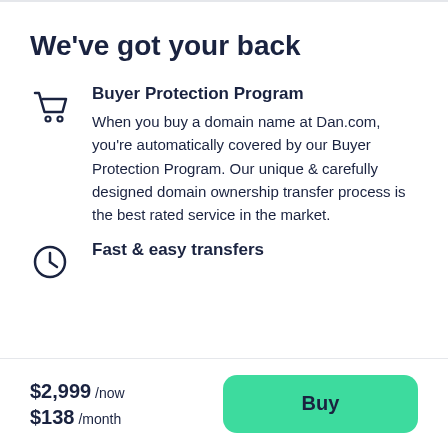We've got your back
Buyer Protection Program
When you buy a domain name at Dan.com, you're automatically covered by our Buyer Protection Program. Our unique & carefully designed domain ownership transfer process is the best rated service in the market.
Fast & easy transfers
$2,999 /now
$138 /month
Buy